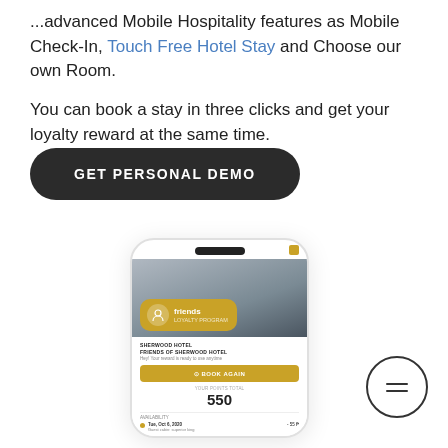...advanced Mobile Hospitality features as Mobile Check-In, Touch Free Hotel Stay and Choose our own Room.
You can book a stay in three clicks and get your loyalty reward at the same time.
GET PERSONAL DEMO
[Figure (screenshot): Smartphone screenshot showing a hotel loyalty app with Friends card overlay, Book Again button, 550 points, and availability calendar]
[Figure (illustration): Circle with two horizontal lines (hamburger menu icon)]